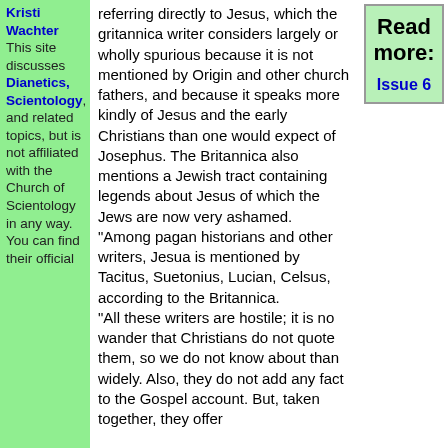Kristi Wachter
This site discusses Dianetics, Scientology, and related topics, but is not affiliated with the Church of Scientology in any way. You can find their official
referring directly to Jesus, which the gritannica writer considers largely or wholly spurious because it is not mentioned by Origin and other church fathers, and because it speaks more kindly of Jesus and the early Christians than one would expect of Josephus. The Britannica also mentions a Jewish tract containing legends about Jesus of which the Jews are now very ashamed.
"Among pagan historians and other writers, Jesua is mentioned by Tacitus, Suetonius, Lucian, Celsus, according to the Britannica.
"All these writers are hostile; it is no wander that Christians do not quote them, so we do not know about than widely. Also, they do not add any fact to the Gospel account. But, taken together, they offer
Read more:

Issue 6